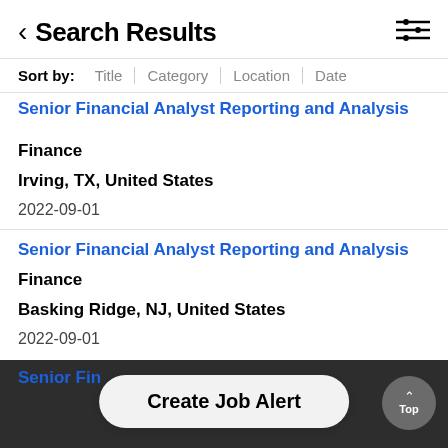< Search Results
Sort by: Title | Category | Location | Date
Senior Financial Analyst Reporting and Analysis | Finance | Irving, TX, United States | 2022-09-01
Senior Financial Analyst Reporting and Analysis | Finance | Basking Ridge, NJ, United States | 2022-09-01
Senior Fi... (partial, cropped)
Create Job Alert